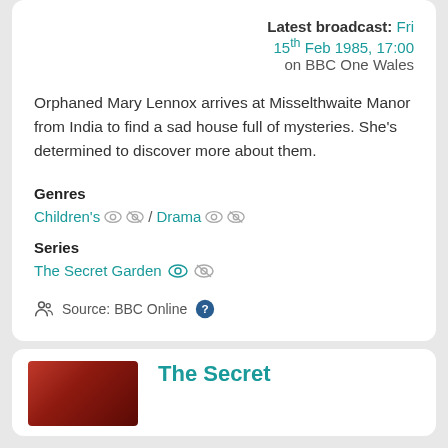Latest broadcast: Fri 15th Feb 1985, 17:00 on BBC One Wales
Orphaned Mary Lennox arrives at Misselthwaite Manor from India to find a sad house full of mysteries. She's determined to discover more about them.
Genres
Children's / Drama
Series
The Secret Garden
Source: BBC Online
The Secret